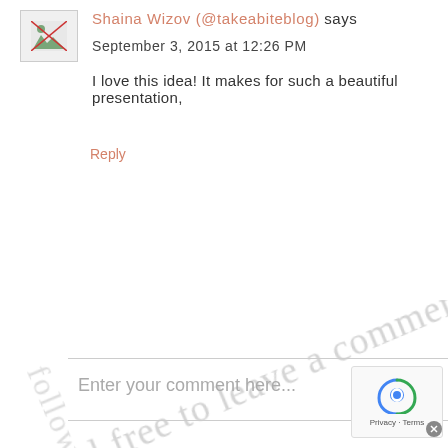[Figure (photo): Avatar/profile image placeholder with broken image icon]
Shaina Wizov (@takeabiteblog) says
September 3, 2015 at 12:26 PM
I love this idea! It makes for such a beautiful presentation,
Reply
[Figure (other): Handwritten script watermark text overlaid diagonally, reading partial cursive text including 'Feel free to leave a comment :)']
Enter your comment here...